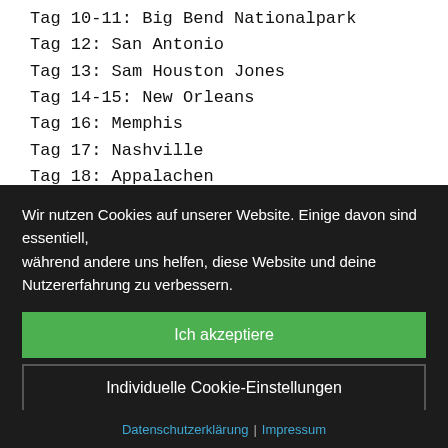Tag 10-11: Big Bend Nationalpark
Tag 12: San Antonio
Tag 13: Sam Houston Jones
Tag 14-15: New Orleans
Tag 16: Memphis
Tag 17: Nashville
Tag 18: Appalachen
Wir nutzen Cookies auf unserer Website. Einige davon sind essentiell, während andere uns helfen, diese Website und deine Nutzererfahrung zu verbessern.
Ich akzeptiere
Individuelle Cookie-Einstellungen
Nur essenzielle Cookies akzeptieren
Datenschutzerklärung | Impressum